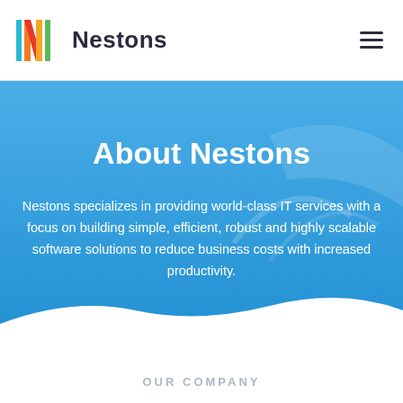Nestons
About Nestons
Nestons specializes in providing world-class IT services with a focus on building simple, efficient, robust and highly scalable software solutions to reduce business costs with increased productivity.
OUR COMPANY